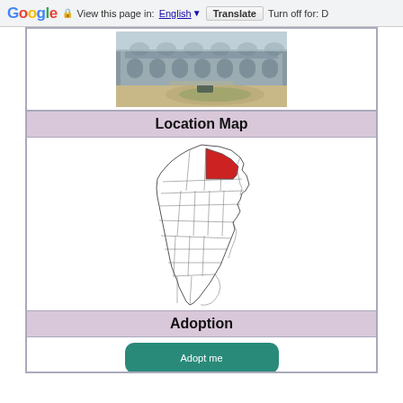Google  View this page in: English  Translate  Turn off for: D
[Figure (photo): Photograph of a large stone government or court building with arched windows and a circular driveway or roundabout in front, with a vehicle visible]
Location Map
[Figure (map): Map of New Jersey showing county boundaries in outline, with one county highlighted in red in the northeast portion of the state]
Adoption
[Figure (other): Teal/green rounded rectangle button, partially visible]